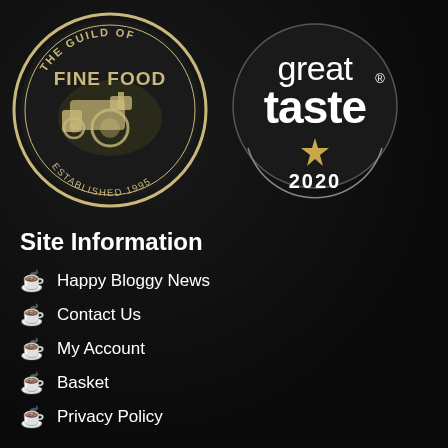[Figure (logo): The Guild of Fine Food circular logo with tractor illustration, established 1995, gold/beige color on dark background]
[Figure (logo): Great Taste award logo, circular with 'great taste' text, one gold star, and '2020' at bottom, white and gold on black]
Site Information
Happy Bloggy News
Contact Us
My Account
Basket
Privacy Policy